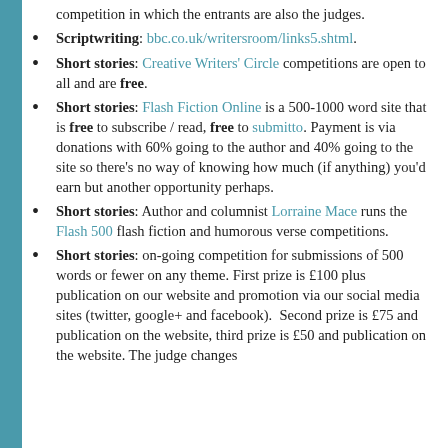competition in which the entrants are also the judges.
Scriptwriting: bbc.co.uk/writersroom/links5.shtml.
Short stories: Creative Writers' Circle competitions are open to all and are free.
Short stories: Flash Fiction Online is a 500-1000 word site that is free to subscribe / read, free to submitto. Payment is via donations with 60% going to the author and 40% going to the site so there's no way of knowing how much (if anything) you'd earn but another opportunity perhaps.
Short stories: Author and columnist Lorraine Mace runs the Flash 500 flash fiction and humorous verse competitions.
Short stories: on-going competition for submissions of 500 words or fewer on any theme. First prize is £100 plus publication on our website and promotion via our social media sites (twitter, google+ and facebook). Second prize is £75 and publication on the website, third prize is £50 and publication on the website. The judge changes